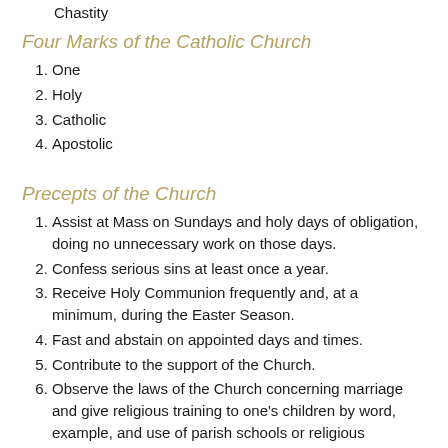Chastity
Four Marks of the Catholic Church
One
Holy
Catholic
Apostolic
Precepts of the Church
Assist at Mass on Sundays and holy days of obligation, doing no unnecessary work on those days.
Confess serious sins at least once a year.
Receive Holy Communion frequently and, at a minimum, during the Easter Season.
Fast and abstain on appointed days and times.
Contribute to the support of the Church.
Observe the laws of the Church concerning marriage and give religious training to one's children by word, example, and use of parish schools or religious education programs.
Join the missionary spirit and work of the Church.